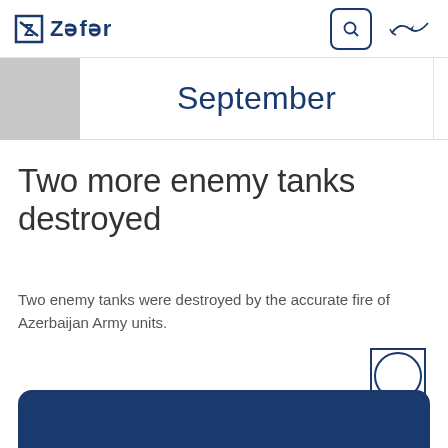Zəfər
September
Two more enemy tanks destroyed
Two enemy tanks were destroyed by the accurate fire of Azerbaijan Army units.